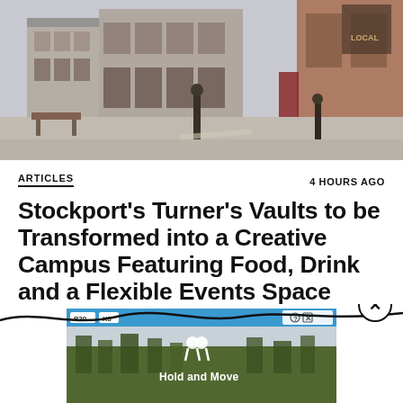[Figure (photo): Street photo of Stockport area showing brick buildings, storefronts, and street bollards]
ARTICLES
4 HOURS AGO
Stockport's Turner's Vaults to be Transformed into a Creative Campus Featuring Food, Drink and a Flexible Events Space
[Figure (photo): Advertisement banner with trees background showing 'Hold and Move' text and people icon, with close button overlay]